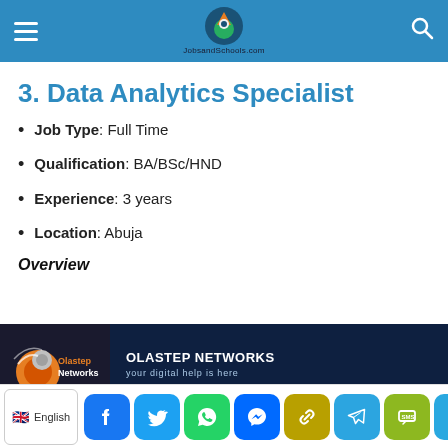JobsandSchools.com
3. Data Analytics Specialist
Job Type: Full Time
Qualification: BA/BSc/HND
Experience: 3 years
Location: Abuja
Overview
[Figure (logo): Olastep Networks advertisement banner with logo and tagline 'your digital help is here']
English | Facebook | Twitter | WhatsApp | Messenger | Link | Telegram | SMS | More